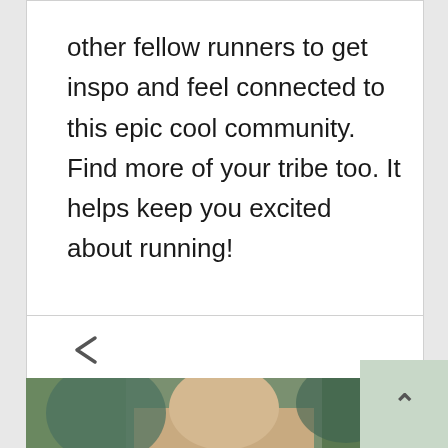other fellow runners to get inspo and feel connected to this epic cool community. Find more of your tribe too. It helps keep you excited about running!
[Figure (other): Share icon (less-than chevron symbol used as share button) in card footer]
[Figure (photo): Partial photo of a person with blonde hair against a green/teal artistic background, cropped at bottom of page]